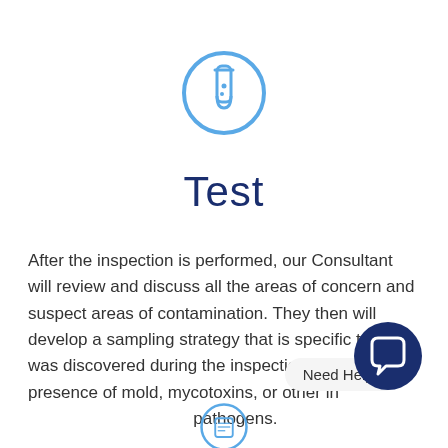[Figure (illustration): Blue circle icon with a test tube/vial inside, outlined style]
Test
After the inspection is performed, our Consultant will review and discuss all the areas of concern and suspect areas of contamination. They then will develop a sampling strategy that is specific to what was discovered during the inspection to validate the presence of mold, mycotoxins, or other in pathogens.
[Figure (illustration): Need Help? chat bubble button with dark navy circle and speech bubble icon]
[Figure (illustration): Partial blue circle icon at bottom center, partially visible]